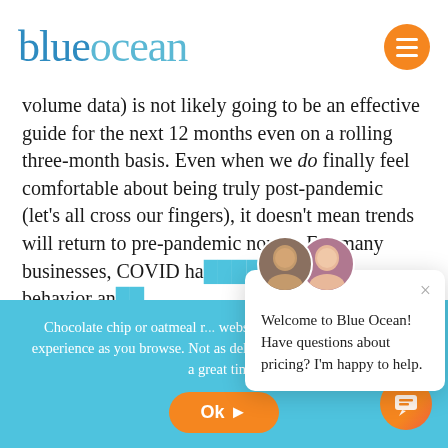blueocean
volume data) is not likely going to be an effective guide for the next 12 months even on a rolling three-month basis. Even when we do finally feel comfortable about being truly post-pandemic (let’s all cross our fingers), it doesn’t mean trends will return to pre-pandemic norms. For many businesses, COVID ha... customer behavior an...
So how should busine...
Chocolate chip or oatmeal r... website ensure the best possible experience as you browse. Not as delicious, but just as essential to a great time.
[Figure (screenshot): Chat popup widget with two avatars (man and woman), close button (x), and message: Welcome to Blue Ocean! Have questions about pricing? I'm happy to help.]